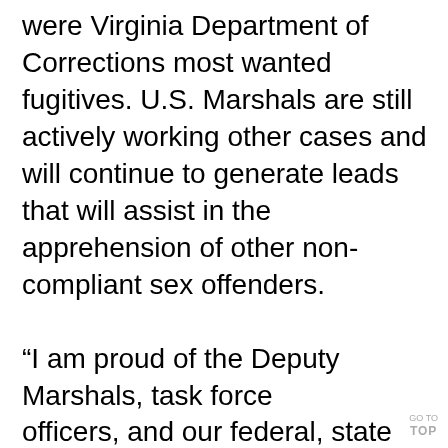were Virginia Department of Corrections most wanted fugitives. U.S. Marshals are still actively working other cases and will continue to generate leads that will assist in the apprehension of other non-compliant sex offenders.

“I am proud of the Deputy Marshals, task force officers, and our federal, state and local law enforcement partners for the work they did this week with these sex offender investigations, and
GO TO TOP